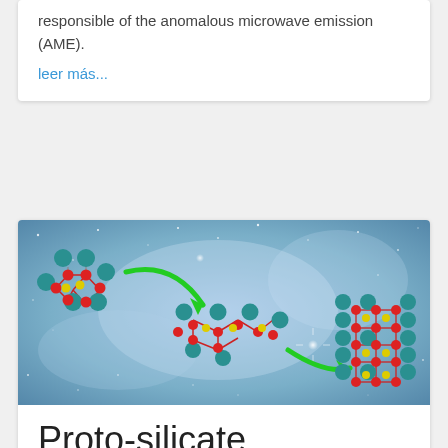responsible of the anomalous microwave emission (AME).
leer más...
[Figure (illustration): Scientific illustration showing proto-silicate nanocluster aggregation stages: a compact cluster (top left) with green arrow pointing to a chain-like structure (center), and another green arrow pointing to a larger flat sheet-like structure (right), all depicted against a blue starry nebula background. Atoms represented as teal, red, and yellow spheres.]
Proto-silicate nanocluster aggregation